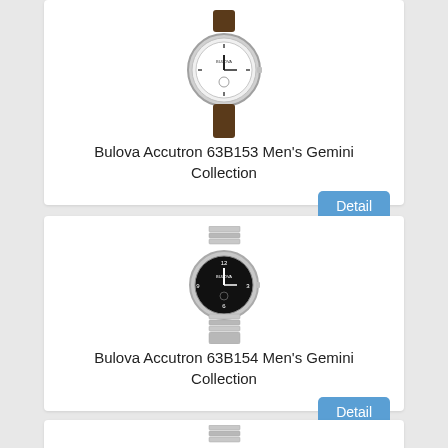[Figure (photo): Bulova Accutron 63B153 watch with white dial and brown leather strap]
Bulova Accutron 63B153 Men's Gemini Collection
[Figure (photo): Bulova Accutron 63B154 watch with black dial and silver metal bracelet]
Bulova Accutron 63B154 Men's Gemini Collection
[Figure (photo): Third Bulova Accutron watch partially visible at bottom with black dial and silver metal bracelet]